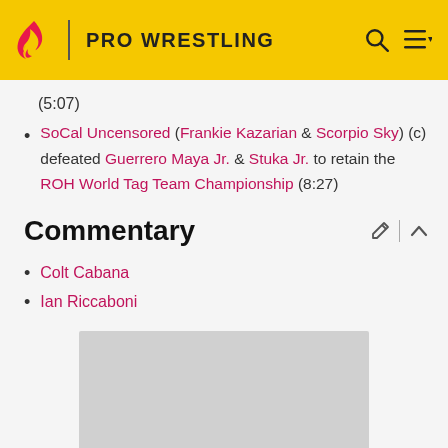PRO WRESTLING
(5:07)
SoCal Uncensored (Frankie Kazarian & Scorpio Sky) (c) defeated Guerrero Maya Jr. & Stuka Jr. to retain the ROH World Tag Team Championship (8:27)
Commentary
Colt Cabana
Ian Riccaboni
[Figure (other): Gray placeholder image block]